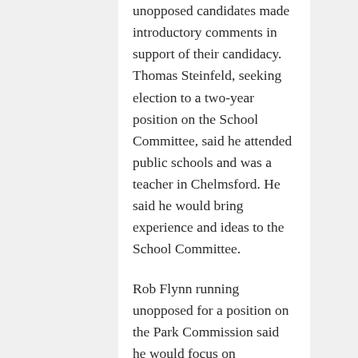unopposed candidates made introductory comments in support of their candidacy. Thomas Steinfeld, seeking election to a two-year position on the School Committee, said he attended public schools and was a teacher in Chelmsford. He said he would bring experience and ideas to the School Committee.
Rob Flynn running unopposed for a position on the Park Commission said he would focus on maintaining veteran's parks in town. And, Bob Fleischer, running unopposed for a position on the Board of Health, urged voters to learn more about what the Board of Health does.
Candidates for the one contested race